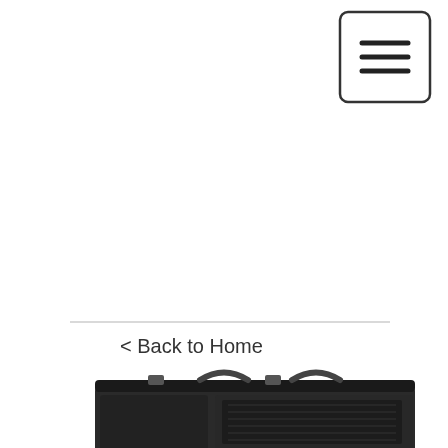[Figure (screenshot): Mobile e-commerce website screenshot showing a hamburger menu button (three horizontal lines) in the top right corner, a red shopping bag icon with '0' in the center, a horizontal divider line, a back navigation link '< Back to Home', and a partial product image of a black guitar amplifier case at the bottom.]